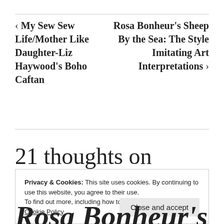‹ My Sew Sew Life/Mother Like Daughter-Liz Haywood's Boho Caftan
Rosa Bonheur's Sheep By the Sea: The Style Imitating Art Interpretations ›
21 thoughts on
Privacy & Cookies: This site uses cookies. By continuing to use this website, you agree to their use.
To find out more, including how to control cookies, see here: Cookie Policy
Close and accept
Rosa Bonheur's